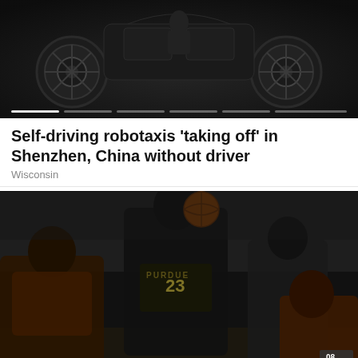[Figure (photo): Dark image showing self-driving robotaxi vehicles with wheels visible, with a carousel progress indicator at the bottom]
Self-driving robotaxis 'taking off' in Shenzhen, China without driver
Wisconsin
[Figure (photo): Black and white photo of a Purdue basketball player wearing jersey number 23 shooting over defenders in orange uniforms during a game]
Big Ten tournament: Schedule, picks and